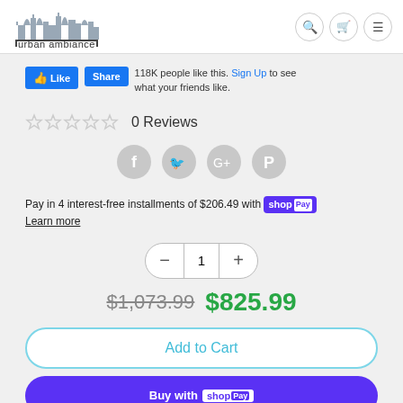[Figure (logo): Urban Ambiance logo with stylized city skyline silhouette in dark/grey tones above the text 'urban ambiance']
[Figure (screenshot): Facebook Like and Share buttons with text '118K people like this. Sign Up to see what your friends like.']
0 Reviews
[Figure (infographic): Four social media share icons: Facebook, Twitter, Google+, Pinterest — grey circular buttons]
Pay in 4 interest-free installments of $206.49 with shop Pay
Learn more
1
$1,073.99  $825.99
Add to Cart
Buy with shop Pay